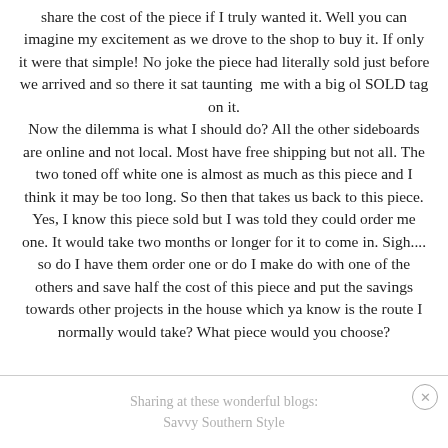share the cost of the piece if I truly wanted it. Well you can imagine my excitement as we drove to the shop to buy it. If only it were that simple! No joke the piece had literally sold just before we arrived and so there it sat taunting me with a big ol SOLD tag on it. Now the dilemma is what I should do? All the other sideboards are online and not local. Most have free shipping but not all. The two toned off white one is almost as much as this piece and I think it may be too long. So then that takes us back to this piece. Yes, I know this piece sold but I was told they could order me one. It would take two months or longer for it to come in. Sigh.... so do I have them order one or do I make do with one of the others and save half the cost of this piece and put the savings towards other projects in the house which ya know is the route I normally would take? What piece would you choose?
Sharing at these wonderful blogs:
Savvy Southern Style